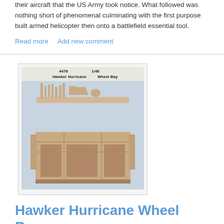their aircraft that the US Army took notice. What followed was nothing short of phenomenal culminating with the first purpose built armed helicopter then onto a battlefield essential tool.
Read more   Add new comment
[Figure (photo): Photo of Hawker Hurricane Wheel Bay resin model parts (kit 4478, 1/48 scale) showing resin components on a light blue background — top row has thin vertical fin-like pieces, bottom has box-shaped bay parts.]
Hawker Hurricane Wheel Bay